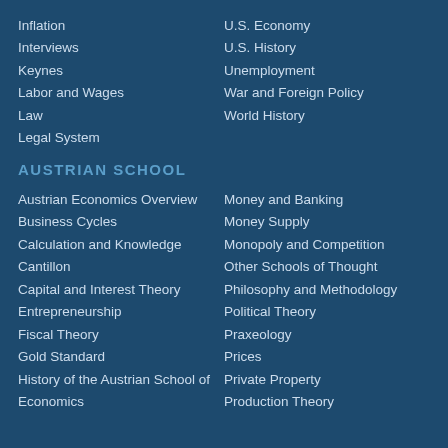Inflation
U.S. Economy
Interviews
U.S. History
Keynes
Unemployment
Labor and Wages
War and Foreign Policy
Law
World History
Legal System
AUSTRIAN SCHOOL
Austrian Economics Overview
Money and Banking
Business Cycles
Money Supply
Calculation and Knowledge
Monopoly and Competition
Cantillon
Other Schools of Thought
Capital and Interest Theory
Philosophy and Methodology
Entrepreneurship
Political Theory
Fiscal Theory
Praxeology
Gold Standard
Prices
History of the Austrian School of
Private Property
Economics
Production Theory